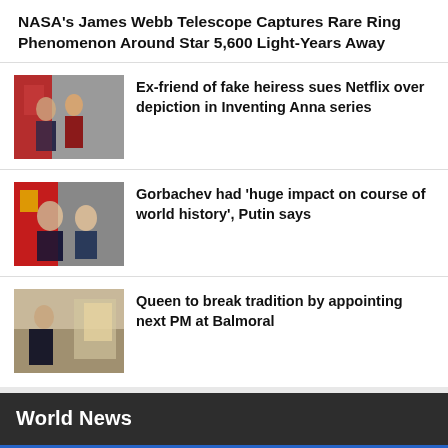NASA's James Webb Telescope Captures Rare Ring Phenomenon Around Star 5,600 Light-Years Away
[Figure (photo): Two women standing outdoors in front of a red sign, news thumbnail for Netflix story]
Ex-friend of fake heiress sues Netflix over depiction in Inventing Anna series
[Figure (photo): Two men face to face, Soviet flag in background, Gorbachev and Putin thumbnail]
Gorbachev had 'huge impact on course of world history', Putin says
[Figure (photo): Man in dark suit in an interior room, news thumbnail for Queen/PM story]
Queen to break tradition by appointing next PM at Balmoral
World News
[Figure (photo): Partial image at bottom of page, news thumbnail]